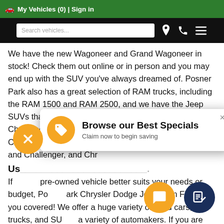🚗 My Vehicles (0) | Sign in
[Figure (screenshot): Black navigation bar with search field 'Search vehicles...' and icons for location, phone, and menu]
We have the new Wagoneer and Grand Wagoneer in stock! Check them out online or in person and you may end up with the SUV you've always dreamed of. Posner Park also has a great selection of RAM trucks, including the RAM 1500 and RAM 2500, and we have the Jeep SUVs that you desire such as the Wrangler, Grand Cherokee, and Gladiator. Don't forget about our Dodge, Chrysler, and Fiat models such as the Dodge Durango and Challenger, and Chr
[Figure (infographic): Popup card with yellow tag icon: 'Browse our Best Specials' / 'Claim now to begin saving' with a close (×) button]
Us...
If pre-owned vehicle better suits your needs or budget, Posner Park Chrysler Dodge Jeep Ram Fiat has you covered! We offer a huge variety of used cars, trucks, and SUVs from a variety of automakers. If you are looking for an e...ace mind, you can also browse certified pre-owned Dodge, Jeep, Ram
[Figure (infographic): Yellow circle close/X button floating bottom left, yellow chat bubble button and dark navy chat/clipboard button floating bottom right]